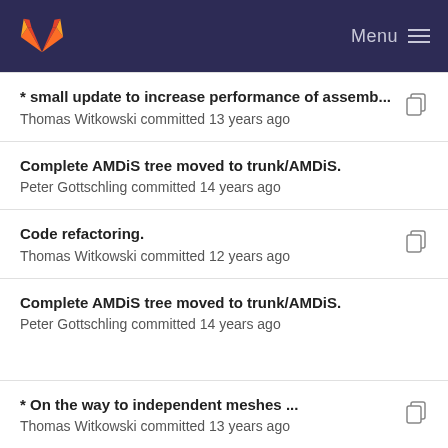GitLab — Menu
* small update to increase performance of assemb...
Thomas Witkowski committed 13 years ago
Complete AMDiS tree moved to trunk/AMDiS.
Peter Gottschling committed 14 years ago
Code refactoring.
Thomas Witkowski committed 12 years ago
Complete AMDiS tree moved to trunk/AMDiS.
Peter Gottschling committed 14 years ago
* On the way to independent meshes ...
Thomas Witkowski committed 13 years ago